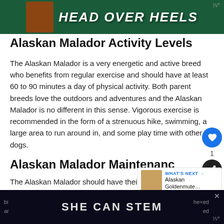[Figure (illustration): Top banner advertisement with dark green background, a dog image on the left, and bold white italic text 'HEAD OVER HEELS']
Alaskan Malador Activity Levels
The Alaskan Malador is a very energetic and active breed who benefits from regular exercise and should have at least 60 to 90 minutes a day of physical activity. Both parent breeds love the outdoors and adventures and the Alaskan Malador is no different in this sense. Vigorous exercise is recommended in the form of a strenuous hike, swimming, a large area to run around in, and some play time with other dogs.
Alaskan Malador Maintenance
The Alaskan Malador should have their teeth
[Figure (screenshot): Bottom advertisement banner with dark background and bold white text 'SHE CAN STEM']